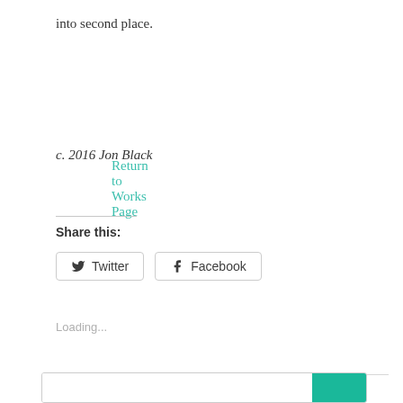into second place.
Return to Works Page
c. 2016 Jon Black
Share this:
Twitter
Facebook
Loading...